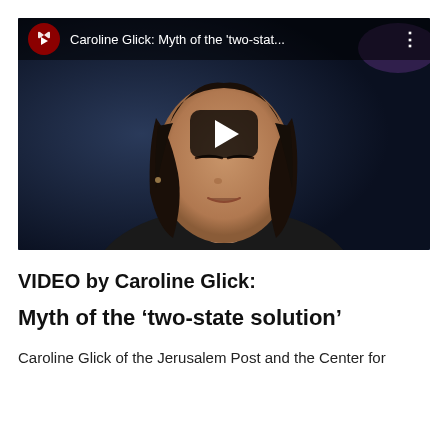[Figure (screenshot): YouTube video thumbnail showing a woman with dark shoulder-length hair against a dark blue background. The video is titled 'Caroline Glick: Myth of the two-stat...' with a YouTube logo in the top left, a three-dot menu icon in the top right, and a large play button in the center.]
VIDEO by Caroline Glick:
Myth of the ‘two-state solution’
Caroline Glick of the Jerusalem Post and the Center for